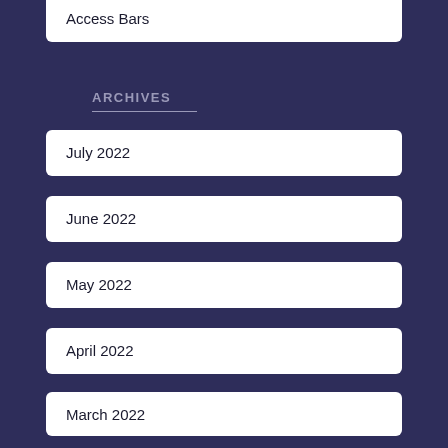Access Bars
ARCHIVES
July 2022
June 2022
May 2022
April 2022
March 2022
February 2022